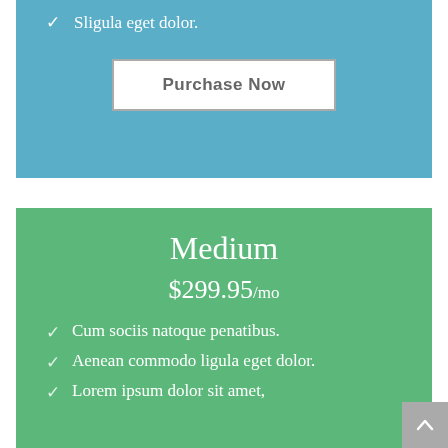Sligula eget dolor.
Purchase Now
Medium
$299.95/mo
Cum sociis natoque penatibus.
Aenean commodo ligula eget dolor.
Lorem ipsum dolor sit amet,